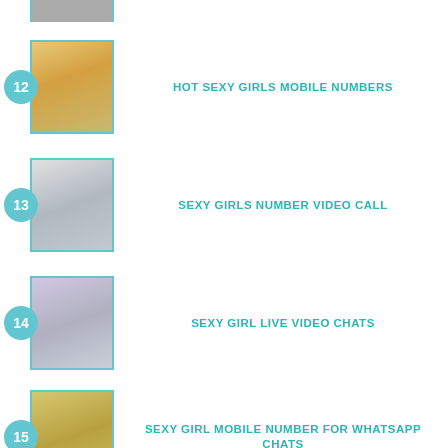12 HOT SEXY GIRLS MOBILE NUMBERS
13 SEXY GIRLS NUMBER VIDEO CALL
14 SEXY GIRL LIVE VIDEO CHATS
15 SEXY GIRL MOBILE NUMBER FOR WHATSAPP CHATS
16 REAL INDIAN GIRLS VIDEO CALL